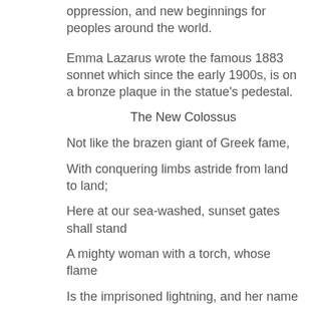oppression, and new beginnings for peoples around the world.
Emma Lazarus wrote the famous 1883 sonnet which since the early 1900s, is on a bronze plaque in the statue's pedestal.
The New Colossus
Not like the brazen giant of Greek fame,
With conquering limbs astride from land to land;
Here at our sea-washed, sunset gates shall stand
A mighty woman with a torch, whose flame
Is the imprisoned lightning, and her name
Mother of Exiles. From her beacon-hand
Glows world-wide welcome; her mild eyes command